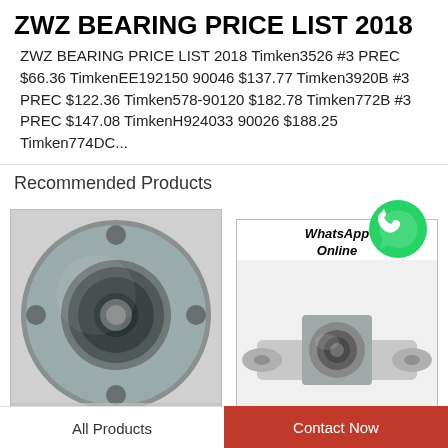ZWZ BEARING PRICE LIST 2018
ZWZ BEARING PRICE LIST 2018 Timken3526 #3 PREC $66.36 TimkenEE192150 90046 $137.77 Timken3920B #3 PREC $122.36 Timken578-90120 $182.78 Timken772B #3 PREC $147.08 TimkenH924033 90026 $188.25 Timken774DC...
Recommended Products
[Figure (photo): Round flange bearing hub unit, gray metallic, circular with four bolt holes, viewed from front]
[Figure (photo): Two-bolt flange bearing unit, silver/chrome metallic, with WhatsApp Online chat bubble overlay]
All Products
Contact Now